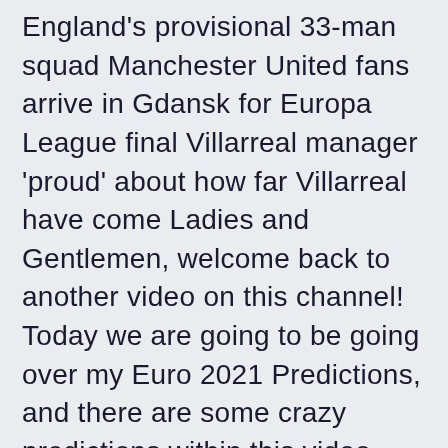England's provisional 33-man squad Manchester United fans arrive in Gdansk for Europa League final Villarreal manager 'proud' about how far Villarreal have come Ladies and Gentlemen, welcome back to another video on this channel! Today we are going to be going over my Euro 2021 Predictions, and there are some crazy predictions within this video. Hopefully, this video invokes some excitement for the tournament itself, as there are an incredible amount of things to be excited for this tournament. Please let me know what you thought of my predictions WC Qualification Asia.